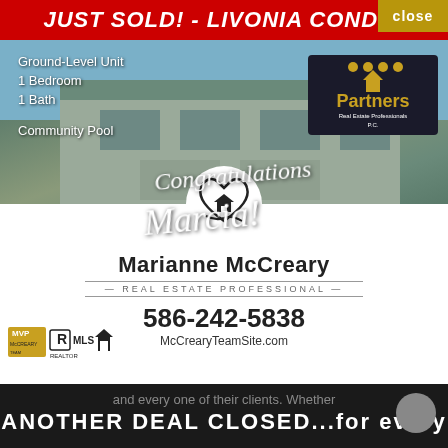close
JUST SOLD! - LIVONIA CONDO!
Ground-Level Unit
1 Bedroom
1 Bath
Community Pool
[Figure (logo): Partners Real Estate Professionals logo]
Congratulations Marcia!
[Figure (photo): Exterior photo of Livonia condo building with woman real estate agent in foreground]
[Figure (logo): Marianne McCreary Real Estate Professional heart-house logo]
Marianne McCreary
REAL ESTATE PROFESSIONAL
586-242-5838
McCrearyTeamSite.com
[Figure (logo): MVP McCreary, Realtor MLS, and Equal Housing logos]
and every one of their clients. Whether
ANOTHER DEAL CLOSED...for every